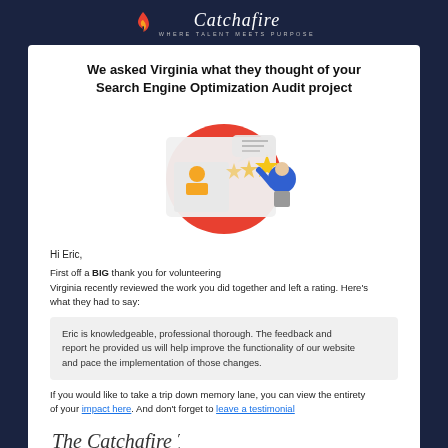Catchafire — WHERE TALENT MEETS PURPOSE
We asked Virginia what they thought of your Search Engine Optimization Audit project
[Figure (illustration): Illustration of a person giving a star rating review on a card/profile interface with a red circular background]
Hi Eric,
First off a BIG thank you for volunteering Virginia recently reviewed the work you did together and left a rating. Here's what they had to say:
Eric is knowledgeable, professional thorough. The feedback and report he provided us will help improve the functionality of our website and pace the implementation of those changes.
If you would like to take a trip down memory lane, you can view the entirety of your impact here. And don't forget to leave a testimonial
[Figure (illustration): Signature of The Catchafire Team in cursive/handwritten style]